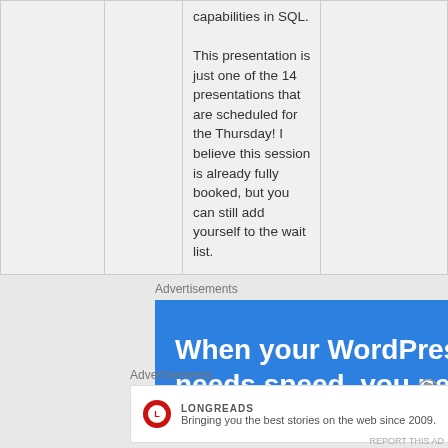|  |  | capabilities in SQL.

This presentation is just one of the 14 presentations that are scheduled for the Thursday! I believe this session is already fully booked, but you can still add yourself to the wait list. |  |
Advertisements
[Figure (screenshot): Blue advertisement banner reading: When your WordPress site needs speed, you need]
Advertisements
[Figure (screenshot): Longreads advertisement: logo with text 'LONGREADS' and tagline 'Bringing you the best stories on the web since 2009.']
REPORT THIS AD